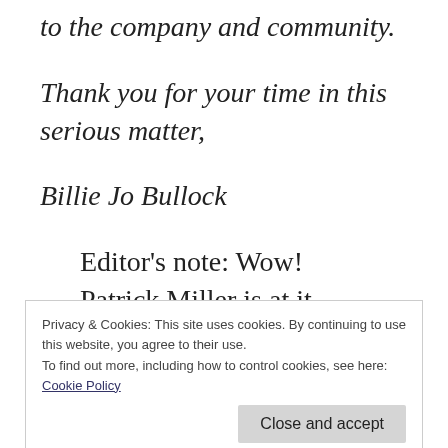to the company and community.
Thank you for your time in this serious matter,
Billie Jo Bullock
Editor's note: Wow!  Patrick Miller is at it again.  Not a state secret.  I've written about this before.  The problem is he
Privacy & Cookies: This site uses cookies. By continuing to use this website, you agree to their use.
To find out more, including how to control cookies, see here: Cookie Policy
Education Dr. Susan Bunting.  Even